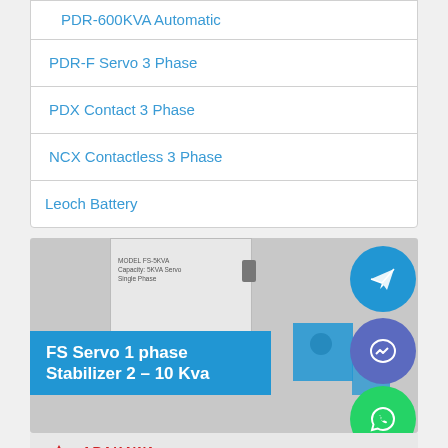PDR-600KVA Automatic
PDR-F Servo 3 Phase
PDX Contact 3 Phase
NCX Contactless 3 Phase
Leoch Battery
[Figure (photo): Photo of a servo stabilizer unit with wheels, displaying 'FS Servo 1 phase Stabilizer 2 - 10 Kva' banner and social media icons (Telegram, Messenger, WhatsApp)]
[Figure (logo): Arakawa Advance UPS Systems logo with red triangle icon and company name]